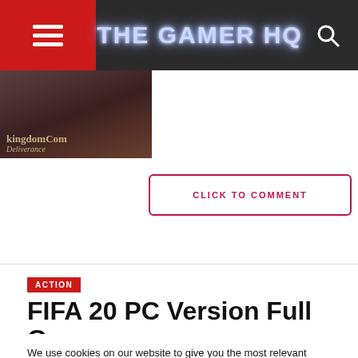THE GAMER HQ
[Figure (photo): Kingdom Come: Deliverance game cover thumbnail]
CLICK TO COMMENT
ACTION
FIFA 20 PC Version Full Game
We use cookies on our website to give you the most relevant experience by remembering your preferences and repeat visits. By clicking “Accept”, you consent to the use of ALL the cookies.
Do not sell my personal information.
Cookie Settings  Accept